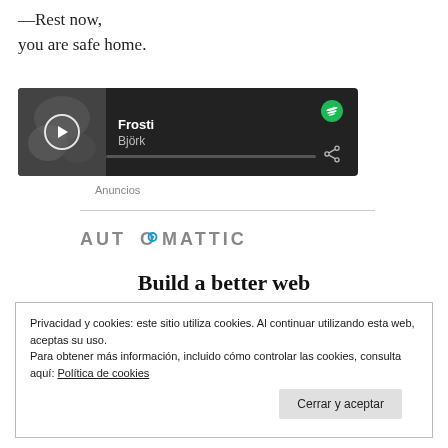—Rest now,
you are safe home.
[Figure (screenshot): Spotify music player widget showing 'Frosti' by Björk with a dark background, album art thumbnail, play button, progress bar, Spotify logo and share icon.]
Anuncios
[Figure (logo): Automattic logo in grey capital letters with a blue circle in the letter O]
Build a better web
Privacidad y cookies: este sitio utiliza cookies. Al continuar utilizando esta web, aceptas su uso.
Para obtener más información, incluido cómo controlar las cookies, consulta aquí: Política de cookies
Cerrar y aceptar